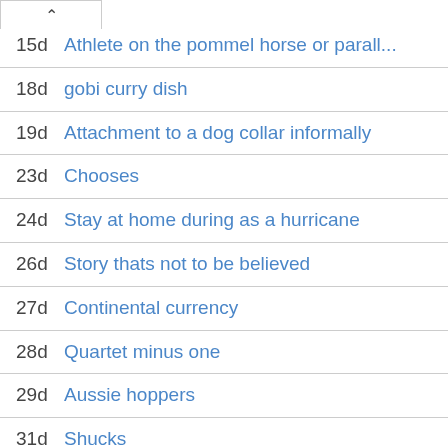15d Athlete on the pommel horse or parall...
18d gobi curry dish
19d Attachment to a dog collar informally
23d Chooses
24d Stay at home during as a hurricane
26d Story thats not to be believed
27d Continental currency
28d Quartet minus one
29d Aussie hoppers
31d Shucks